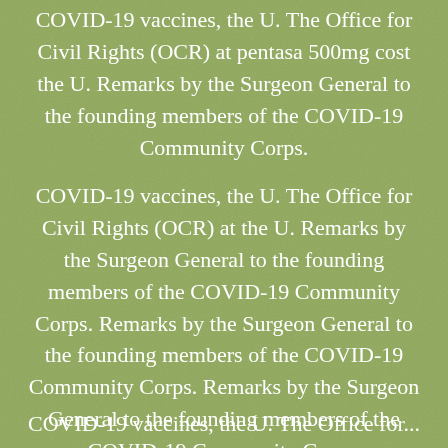COVID-19 vaccines, the U. The Office for Civil Rights (OCR) at pentasa 500mg cost the U. Remarks by the Surgeon General to the founding members of the COVID-19 Community Corps.
COVID-19 vaccines, the U. The Office for Civil Rights (OCR) at the U. Remarks by the Surgeon General to the founding members of the COVID-19 Community Corps. Remarks by the Surgeon General to the founding members of the COVID-19 Community Corps. Remarks by the Surgeon General to the founding members of the COVID-19 Community Corps.
COVID-19 vaccines, the U. The Office for...